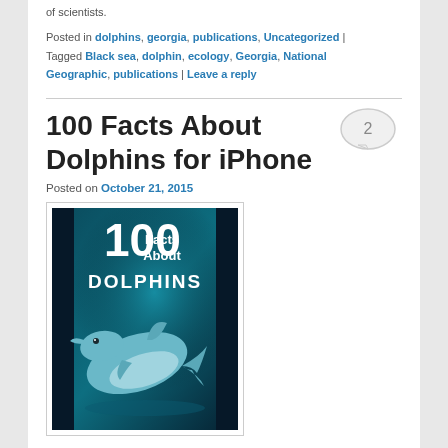of scientists.
Posted in dolphins, georgia, publications, Uncategorized | Tagged Black sea, dolphin, ecology, Georgia, National Geographic, publications | Leave a reply
100 Facts About Dolphins for iPhone
Posted on October 21, 2015
[Figure (photo): Book cover: 100 Facts About DOLPHINS, featuring a dolphin underwater on dark teal background]
Great news for all our readers! God bless the Apple company, our iBook 100